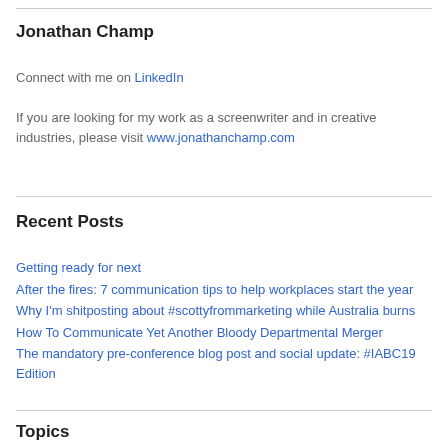Jonathan Champ
Connect with me on LinkedIn
If you are looking for my work as a screenwriter and in creative industries, please visit www.jonathanchamp.com
Recent Posts
Getting ready for next
After the fires: 7 communication tips to help workplaces start the year
Why I'm shitposting about #scottyfrommarketing while Australia burns
How To Communicate Yet Another Bloody Departmental Merger
The mandatory pre-conference blog post and social update: #IABC19 Edition
Topics